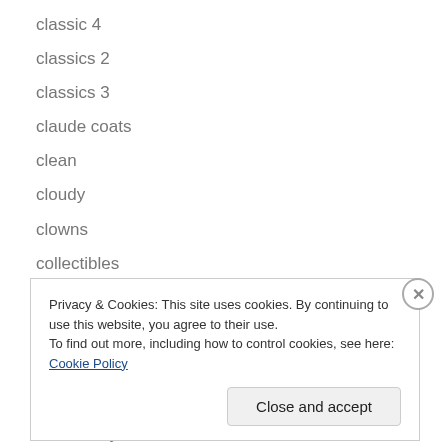classic 4
classics 2
classics 3
claude coats
clean
cloudy
clowns
collectibles
color 1.1
colorful
color study 630
color study 797
color study 1151
Privacy & Cookies: This site uses cookies. By continuing to use this website, you agree to their use.
To find out more, including how to control cookies, see here: Cookie Policy
Close and accept